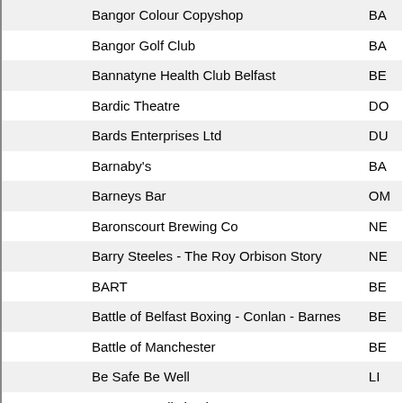| Name | Code |
| --- | --- |
| Bangor Colour Copyshop | BA |
| Bangor Golf Club | BA |
| Bannatyne Health Club Belfast | BE |
| Bardic Theatre | DO |
| Bards Enterprises Ltd | DU |
| Barnaby's | BA |
| Barneys Bar | OM |
| Baronscourt Brewing Co | NE |
| Barry Steeles - The Roy Orbison Story | NE |
| BART | BE |
| Battle of Belfast Boxing - Conlan - Barnes | BE |
| Battle of Manchester | BE |
| Be Safe Be Well | LI |
| Beauty & Holistic Therapy | BE |
| Beauty at Good Vibrations | BE |
| Beauty Culture Belfast | BE |
| Beauty Haven | BE |
| Beauty Secrets by Fiona | BA |